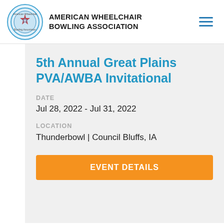AMERICAN WHEELCHAIR BOWLING ASSOCIATION
5th Annual Great Plains PVA/AWBA Invitational
DATE
Jul 28, 2022 - Jul 31, 2022
LOCATION
Thunderbowl | Council Bluffs, IA
EVENT DETAILS